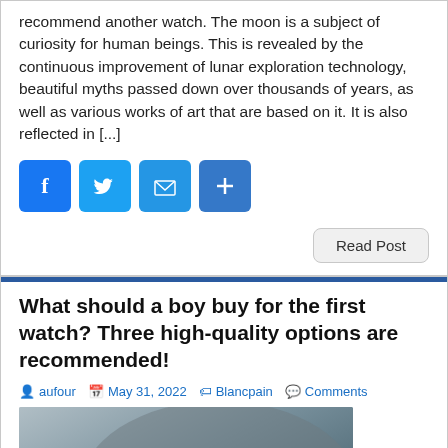recommend another watch. The moon is a subject of curiosity for human beings. This is revealed by the continuous improvement of lunar exploration technology, beautiful myths passed down over thousands of years, as well as various works of art that are based on it. It is also reflected in [...]
[Figure (other): Social sharing buttons: Facebook, Twitter, Email, Share (blue square icons)]
Read Post
What should a boy buy for the first watch? Three high-quality options are recommended!
aufour  May 31, 2022  Blancpain  Comments
[Figure (photo): Photo of a person wearing a luxury dive watch on their wrist, wearing a grey suit jacket]